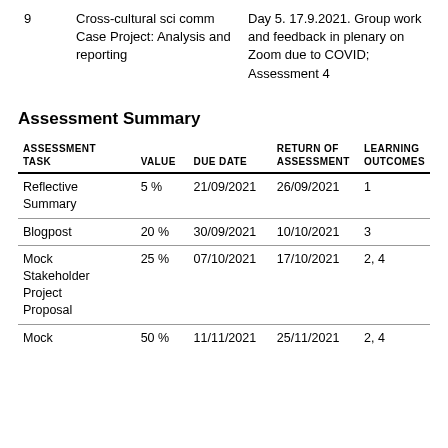|  | Topic | Notes |
| --- | --- | --- |
| 9 | Cross-cultural sci comm Case Project: Analysis and reporting | Day 5. 17.9.2021. Group work and feedback in plenary on Zoom due to COVID; Assessment 4 |
Assessment Summary
| Assessment Task | Value | Due Date | Return of Assessment | Learning Outcomes |
| --- | --- | --- | --- | --- |
| Reflective Summary | 5 % | 21/09/2021 | 26/09/2021 | 1 |
| Blogpost | 20 % | 30/09/2021 | 10/10/2021 | 3 |
| Mock Stakeholder Project Proposal | 25 % | 07/10/2021 | 17/10/2021 | 2, 4 |
| Mock | 50 % | 11/11/2021 | 25/11/2021 | 2, 4 |